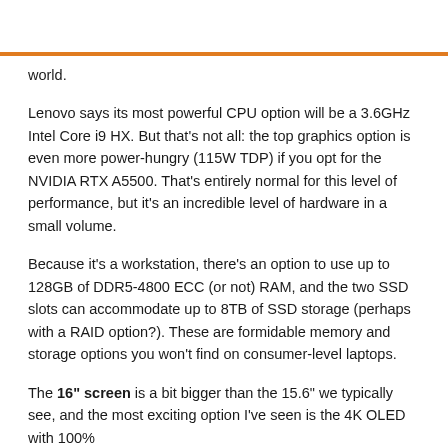world.
Lenovo says its most powerful CPU option will be a 3.6GHz Intel Core i9 HX. But that's not all: the top graphics option is even more power-hungry (115W TDP) if you opt for the NVIDIA RTX A5500. That's entirely normal for this level of performance, but it's an incredible level of hardware in a small volume.
Because it's a workstation, there's an option to use up to 128GB of DDR5-4800 ECC (or not) RAM, and the two SSD slots can accommodate up to 8TB of SSD storage (perhaps with a RAID option?). These are formidable memory and storage options you won't find on consumer-level laptops.
The 16" screen is a bit bigger than the 15.6" we typically see, and the most exciting option I've seen is the 4K OLED with 100%